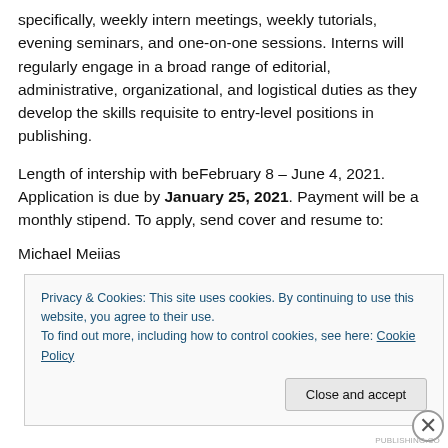specifically, weekly intern meetings, weekly tutorials, evening seminars, and one-on-one sessions. Interns will regularly engage in a broad range of editorial, administrative, organizational, and logistical duties as they develop the skills requisite to entry-level positions in publishing.
Length of intership with beFebruary 8 – June 4, 2021. Application is due by January 25, 2021. Payment will be a monthly stipend. To apply, send cover and resume to:
Michael Meiias
Privacy & Cookies: This site uses cookies. By continuing to use this website, you agree to their use.
To find out more, including how to control cookies, see here: Cookie Policy